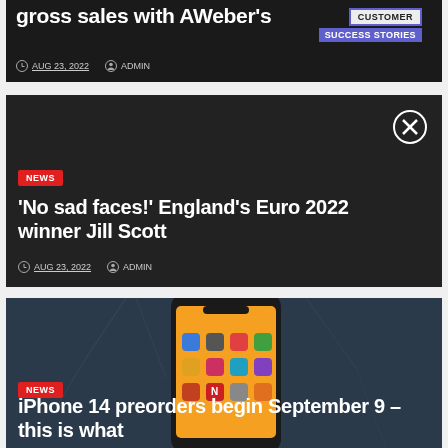[Figure (screenshot): Article card 1: Dark background with text 'gross sales with AWeber's' and a 'CUSTOMER SUCCESS STORIES' sign overlay. Date: AUG 23, 2022, Author: ADMIN.]
[Figure (screenshot): Article card 2: Dark background with NEWS badge, title 'No sad faces! England's Euro 2022 winner Jill Scott', date AUG 23, 2022, author ADMIN, and a close (X) button.]
[Figure (screenshot): Article card 3: Dark blue/stone background with iPhone 14 photo, NEWS badge, and title 'iPhone 14 preorders begin September 9 – this is what']